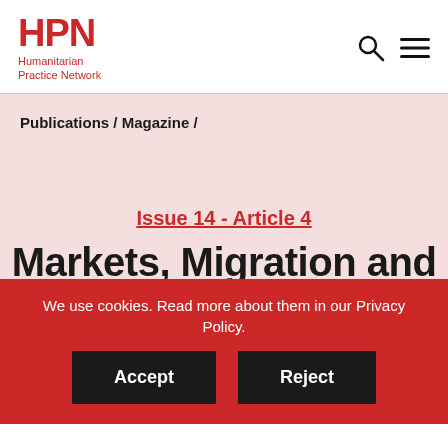HPN Humanitarian Practice Network
Publications / Magazine /
Issue 14 - Article 4
Markets, Migration and
We use cookies. Read more about them in our Privacy Policy.
Accept
Reject